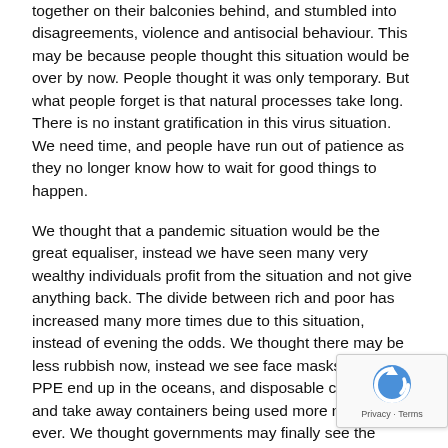together on their balconies behind, and stumbled into disagreements, violence and antisocial behaviour. This may be because people thought this situation would be over by now. People thought it was only temporary. But what people forget is that natural processes take long. There is no instant gratification in this virus situation. We need time, and people have run out of patience as they no longer know how to wait for good things to happen.
We thought that a pandemic situation would be the great equaliser, instead we have seen many very wealthy individuals profit from the situation and not give anything back. The divide between rich and poor has increased many more times due to this situation, instead of evening the odds. We thought there may be less rubbish now, instead we see face masks and other PPE end up in the oceans, and disposable coffee cups and take away containers being used more now than ever. We thought governments may finally see the damage that we do to the environment and its consequences. Instead we see more government funding going to fossil fuel and other unsustainable projects.